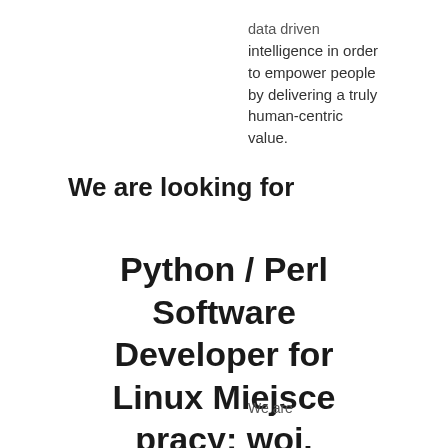data driven intelligence in order to empower people by delivering a truly human-centric value.
We are looking for
Python / Perl Software Developer for Linux Miejsce pracy: woj. pomorskie
We are